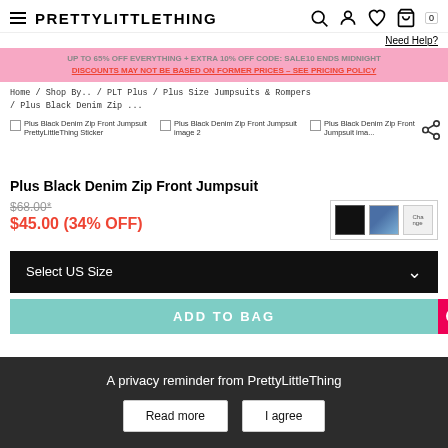PRETTYLITTLETHING
Need Help?
UP TO 65% OFF EVERYTHING + EXTRA 10% OFF CODE: SALE10 ENDS MIDNIGHT
DISCOUNTS MAY NOT BE BASED ON FORMER PRICES – SEE PRICING POLICY
Home / Shop By.. / PLT Plus / Plus Size Jumpsuits & Rompers / Plus Black Denim Zip ...
[Figure (screenshot): Three product thumbnail image labels with checkboxes: 'Plus Black Denim Zip Front Jumpsuit PrettyLittleThing Sticker', 'Plus Black Denim Zip Front Jumpsuit image 2', 'Plus Black Denim Zip Front Jumpsuit ima...' with a share icon]
Plus Black Denim Zip Front Jumpsuit
$68.00*
$45.00 (34% OFF)
[Figure (other): Color swatches: black, denim blue, and a 'Change' option]
Select US Size
ADD TO BAG
A privacy reminder from PrettyLittleThing
Read more
I agree